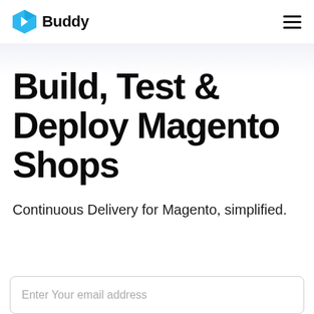Buddy
Build, Test & Deploy Magento Shops
Continuous Delivery for Magento, simplified.
Enter Your email address